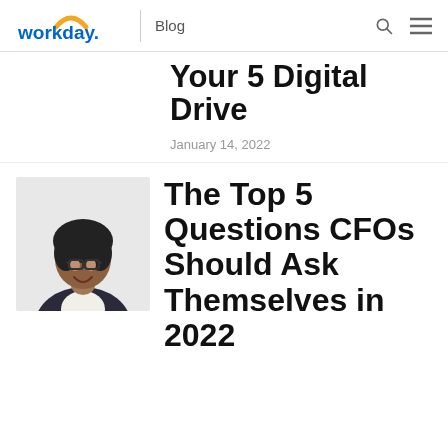workday. | Blog
Your 5 Digital Drive
January 14, 2022
[Figure (photo): Smiling professional woman wearing glasses and a dark blazer]
The Top 5 Questions CFOs Should Ask Themselves in 2022